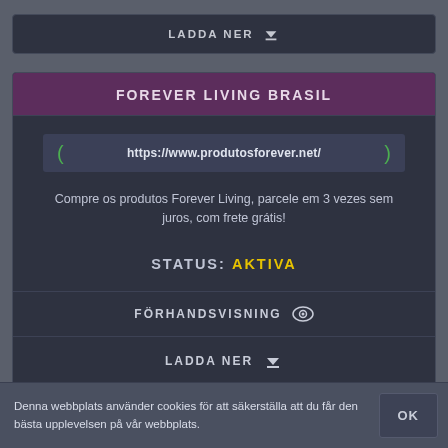LADDA NER
FOREVER LIVING BRASIL
https://www.produtosforever.net/
Compre os produtos Forever Living, parcele em 3 vezes sem juros, com frete grátis!
STATUS: AKTIVA
FÖRHANDSVISNING
LADDA NER
FBO LOGIN - FOREVER LIVING
Denna webbplats använder cookies för att säkerställa att du får den bästa upplevelsen på vår webbplats.